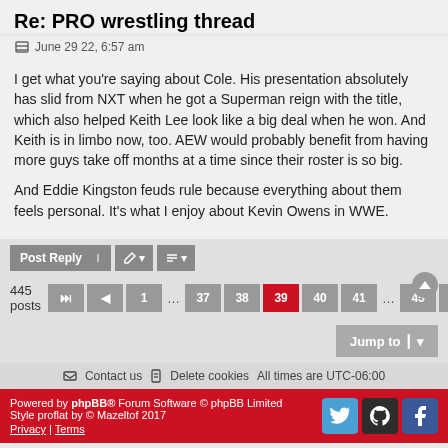Re: PRO wrestling thread
June 29 22, 6:57 am
I get what you're saying about Cole. His presentation absolutely has slid from NXT when he got a Superman reign with the title, which also helped Keith Lee look like a big deal when he won. And Keith is in limbo now, too. AEW would probably benefit from having more guys take off months at a time since their roster is so big.

And Eddie Kingston feuds rule because everything about them feels personal. It's what I enjoy about Kevin Owens in WWE.
Post Reply | tools | sort
445 posts  1 … 37 38 39 40 41 … 45
Jump to
Contact us   Delete cookies   All times are UTC-06:00
Powered by phpBB® Forum Software © phpBB Limited
Style proflat by © Mazeltof 2017
Privacy | Terms